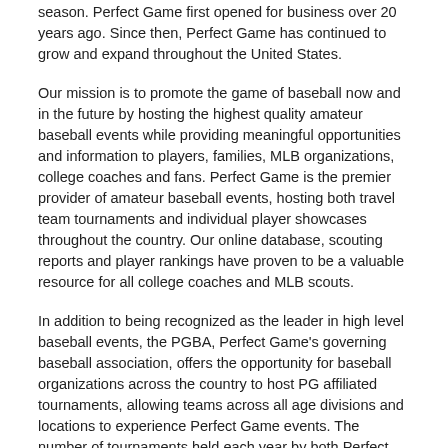season. Perfect Game first opened for business over 20 years ago. Since then, Perfect Game has continued to grow and expand throughout the United States.
Our mission is to promote the game of baseball now and in the future by hosting the highest quality amateur baseball events while providing meaningful opportunities and information to players, families, MLB organizations, college coaches and fans. Perfect Game is the premier provider of amateur baseball events, hosting both travel team tournaments and individual player showcases throughout the country. Our online database, scouting reports and player rankings have proven to be a valuable resource for all college coaches and MLB scouts.
In addition to being recognized as the leader in high level baseball events, the PGBA, Perfect Game's governing baseball association, offers the opportunity for baseball organizations across the country to host PG affiliated tournaments, allowing teams across all age divisions and locations to experience Perfect Game events. The number of tournaments held each year by both Perfect Game and its' affiliated PGBA organizations has reached well into the thousands.
Whether you are a baseball enthusiast or simply want an exciting opportunity with a fast-growing company, this internship with Perfect Game may be just what you are looking for to gain valuable experience and help you further your